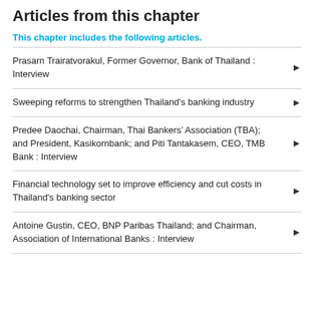Articles from this chapter
This chapter includes the following articles.
Prasarn Trairatvorakul, Former Governor, Bank of Thailand : Interview
Sweeping reforms to strengthen Thailand's banking industry
Predee Daochai, Chairman, Thai Bankers' Association (TBA); and President, Kasikornbank; and Piti Tantakasem, CEO, TMB Bank : Interview
Financial technology set to improve efficiency and cut costs in Thailand's banking sector
Antoine Gustin, CEO, BNP Paribas Thailand; and Chairman, Association of International Banks : Interview